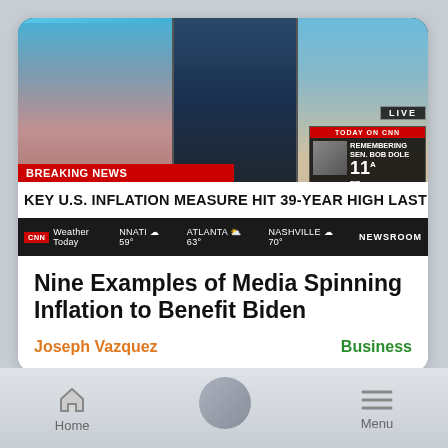[Figure (screenshot): CNN Breaking News screenshot showing three anchors/commentators on screen with ticker 'KEY U.S. INFLATION MEASURE HIT 39-YEAR HIGH LAST MONTH', a 'TODAY ON CNN: REMEMBERING SEN. BOB DOLE 11A ET' inset, LIVE badge, and weather bar showing NNATI 59°, ATLANTA 63°, NASHVILLE 70°, NEWSROOM.]
Nine Examples of Media Spinning Inflation to Benefit Biden
Joseph Vazquez
Business